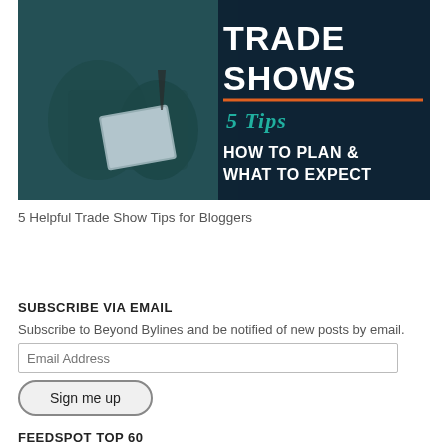[Figure (illustration): Trade show tips promotional image with dark teal/navy background, photo of people at a conference, bold white text reading 'TRADE SHOWS', orange underline, teal italic script '5 Tips', and white text 'HOW TO PLAN & WHAT TO EXPECT']
5 Helpful Trade Show Tips for Bloggers
SUBSCRIBE VIA EMAIL
Subscribe to Beyond Bylines and be notified of new posts by email.
FEEDSPOT TOP 60